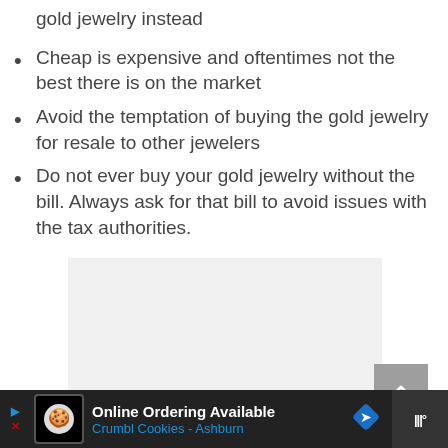gold jewelry instead
Cheap is expensive and oftentimes not the best there is on the market
Avoid the temptation of buying the gold jewelry for resale to other jewelers
Do not ever buy your gold jewelry without the bill. Always ask for that bill to avoid issues with the tax authorities.
[Figure (photo): Light gray placeholder image area with scroll-to-top button]
Online Ordering Available | Crumbl Cookies - Ashburn